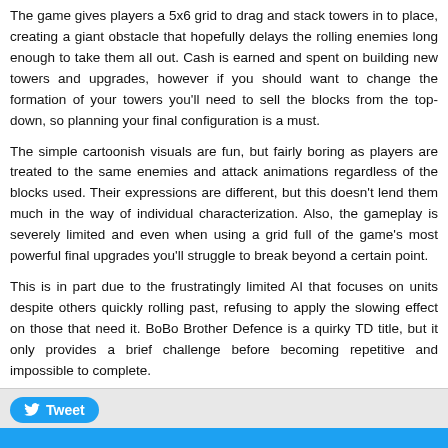The game gives players a 5x6 grid to drag and stack towers in to place, creating a giant obstacle that hopefully delays the rolling enemies long enough to take them all out. Cash is earned and spent on building new towers and upgrades, however if you should want to change the formation of your towers you'll need to sell the blocks from the top-down, so planning your final configuration is a must.
The simple cartoonish visuals are fun, but fairly boring as players are treated to the same enemies and attack animations regardless of the blocks used. Their expressions are different, but this doesn't lend them much in the way of individual characterization. Also, the gameplay is severely limited and even when using a grid full of the game's most powerful final upgrades you'll struggle to break beyond a certain point.
This is in part due to the frustratingly limited AI that focuses on units despite others quickly rolling past, refusing to apply the slowing effect on those that need it. BoBo Brother Defence is a quirky TD title, but it only provides a brief challenge before becoming repetitive and impossible to complete.
Screenshots
Screenshot 1 of 5
[Figure (screenshot): Screenshot 1 of 5 placeholder image]